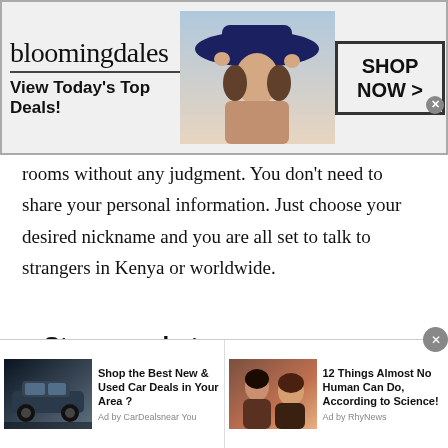[Figure (screenshot): Bloomingdale's advertisement banner: logo, 'View Today's Top Deals!', model in hat, 'SHOP NOW >' button]
rooms without any judgment. You don't need to share your personal information. Just choose your desired nickname and you are all set to talk to strangers in Kenya or worldwide.
Stranger chat
TWS stranger chat is completely safe, secure and convenient for all. Yes, as we said earlier, you are not required to share your personal information with anyone. So, you can make your chat secret and talk
[Figure (screenshot): Bottom advertisement bar with two ads: 'Shop the Best New & Used Car Deals in Your Area?' by CarDealsnear You, and '12 Things Almost No Human Can Do, According to Science!' by RhyNews]